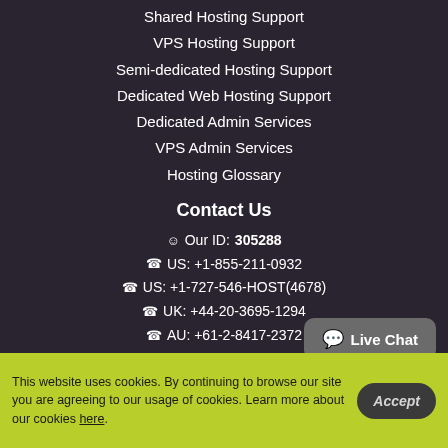Shared Hosting Support
VPS Hosting Support
Semi-dedicated Hosting Support
Dedicated Web Hosting Support
Dedicated Admin Services
VPS Admin Services
Hosting Glossary
Contact Us
Our ID: 305288
US: +1-855-211-0932
US: +1-727-546-HOST(4678)
UK: +44-20-3695-1294
AU: +61-2-8417-2372
[Figure (other): Live Chat button widget]
This website uses cookies. By continuing to browse our site you are agreeing to our usage of cookies. Learn more about our cookies here.